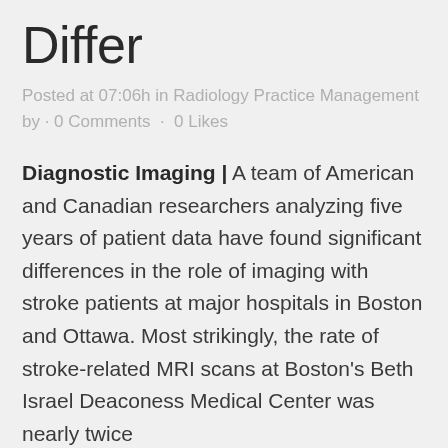Differ
Posted at 07:06h in Radiology Practice Management by · 0 Comments · 0 Likes
Diagnostic Imaging | A team of American and Canadian researchers analyzing five years of patient data have found significant differences in the role of imaging with stroke patients at major hospitals in Boston and Ottawa. Most strikingly, the rate of stroke-related MRI scans at Boston's Beth Israel Deaconess Medical Center was nearly twice